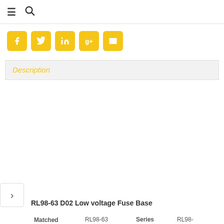☰ 🔍
[Figure (infographic): Social media share buttons: Facebook, Twitter, LinkedIn, Google+, Email — all in yellow/gold rounded square buttons]
Description
RL98-63 D02 Low voltage Fuse Base
| Matched Fuse Holder | RL98-63 | Series | RL98-16,32,63,125 |
| Rated Voltage / Current | 380v-500v/63A | Protection | gG/aM/aR |
|  | Resin, Nylon body | Package | 10pcs(Inner) 400pcs(Ctr |